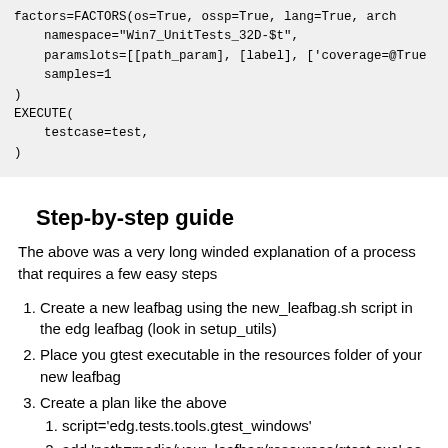factors=FACTORS(os=True, ossp=True, lang=True, arch
    namespace="Win7_UnitTests_32D-$t",
    paramslots=[[path_param], [label], ['coverage=@True
    samples=1
)
EXECUTE(
    testcase=test,
)
Step-by-step guide
The above was a very long winded explanation of a process that requires a few easy steps
Create a new leafbag using the new_leafbag.sh script in the edg leafbag (look in setup_utils)
Place you gtest executable in the resources folder of your new leafbag
Create a plan like the above
script='edg.tests.tools.gtest_windows'
add 'path=media/your_leafbag/resources/gtest.exe' as one of your paramslots
launch via bin/remote_commit